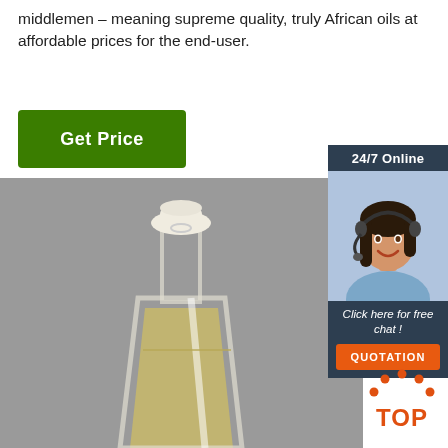middlemen – meaning supreme quality, truly African oils at affordable prices for the end-user.
[Figure (other): Green 'Get Price' button]
[Figure (other): 24/7 Online chat widget with woman wearing headset, 'Click here for free chat!' text, and orange QUOTATION button]
[Figure (photo): A glass Erlenmeyer flask with a stopper, containing a light yellow/golden liquid, photographed against a grey background]
[Figure (logo): TOP logo with orange dots arranged in a semicircle]